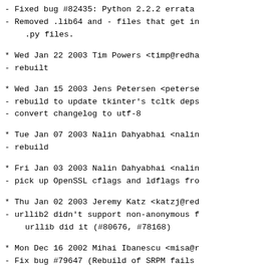- Fixed bug #82435: Python 2.2.2 errata
- Removed .lib64 and - files that get in .py files.
* Wed Jan 22 2003 Tim Powers <timp@redha
- rebuilt
* Wed Jan 15 2003 Jens Petersen <peterse
- rebuild to update tkinter's tcltk deps
- convert changelog to utf-8
* Tue Jan 07 2003 Nalin Dahyabhai <nalin
- rebuild
* Fri Jan 03 2003 Nalin Dahyabhai <nalin
- pick up OpenSSL cflags and ldflags fro
* Thu Jan 02 2003 Jeremy Katz <katzj@red
- urllib2 didn't support non-anonymous f urllib did it (#80676, #78168)
* Mon Dec 16 2002 Mihai Ibanescu <misa@r
- Fix bug #79647 (Rebuild of SRPM fails
- Added a bunch of missing BuildRequire